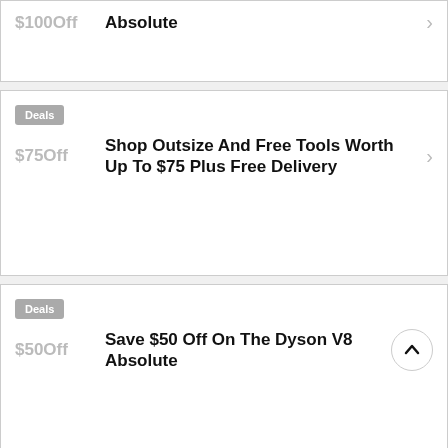$100Off
Absolute
Deals
$75Off
Shop Outsize And Free Tools Worth Up To $75 Plus Free Delivery
Deals
$50Off
Save $50 Off On The Dyson V8 Absolute